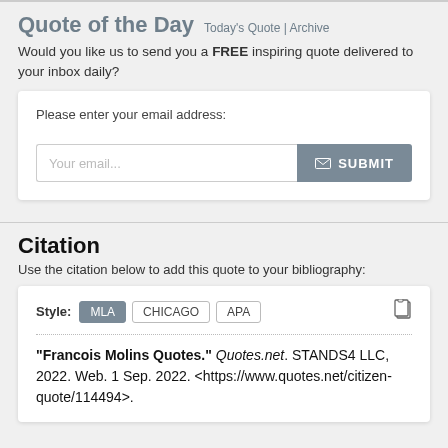Quote of the Day   Today's Quote | Archive
Would you like us to send you a FREE inspiring quote delivered to your inbox daily?
[Figure (screenshot): Email subscription form with 'Please enter your email address:' label, an email input field with placeholder 'Your email...' and a grey SUBMIT button with envelope icon]
Citation
Use the citation below to add this quote to your bibliography:
Style: MLA  CHICAGO  APA
"Francois Molins Quotes." Quotes.net. STANDS4 LLC, 2022. Web. 1 Sep. 2022. <https://www.quotes.net/citizen-quote/114494>.